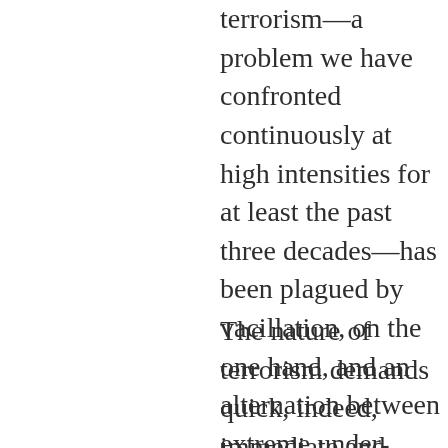terrorism—a problem we have confronted continuously at high intensities for at least the past three decades—has been plagued by vacillation, on the one hand, and an alternation between extreme under-reaction and excess, on the other.
The nature of terrorism demands quick, indeed, immediate and decisive application of appropriate force; it requires the creation of institutional structures and protocols of